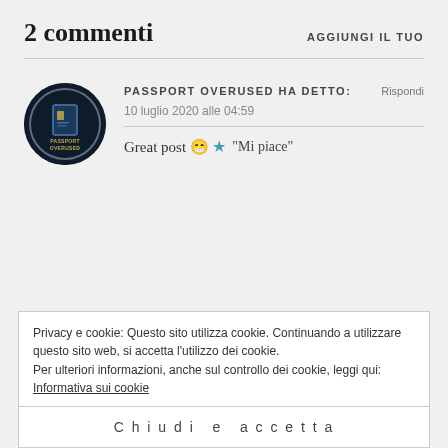2 commenti
AGGIUNGI IL TUO
[Figure (illustration): Circular avatar logo for 'Passport Overused' — dark navy background, a silver/white ring border, a small passport book icon in blue/gold at center, text 'Passport Overused' below icon in gold letters.]
PASSPORT OVERUSED ha detto:
Rispondi
10 luglio 2020 alle 04:59
Great post 😁
★ "Mi piace"
Privacy e cookie: Questo sito utilizza cookie. Continuando a utilizzare questo sito web, si accetta l'utilizzo dei cookie.
Per ulteriori informazioni, anche sul controllo dei cookie, leggi qui:
Informativa sui cookie
Chiudi e accetta